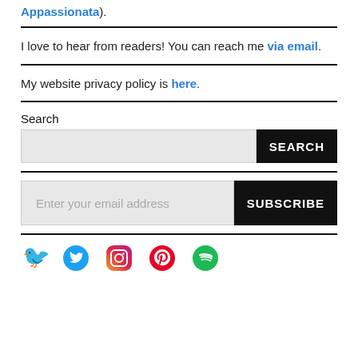Appassionata).
I love to hear from readers! You can reach me via email.
My website privacy policy is here.
Search
Enter your email address
[Figure (other): Social media icons: Twitter (blue bird), Instagram (pink/red camera), Pinterest (red P), Spotify (green circle)]